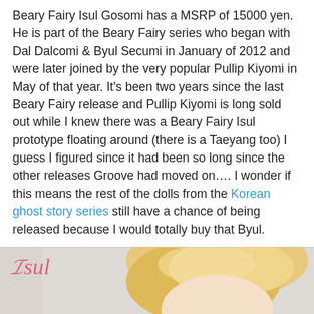Beary Fairy Isul Gosomi has a MSRP of 15000 yen. He is part of the Beary Fairy series who began with Dal Dalcomi & Byul Secumi in January of 2012 and were later joined by the very popular Pullip Kiyomi in May of that year. It's been two years since the last Beary Fairy release and Pullip Kiyomi is long sold out while I knew there was a Beary Fairy Isul prototype floating around (there is a Taeyang too) I guess I figured since it had been so long since the other releases Groove had moved on…. I wonder if this means the rest of the dolls from the Korean ghost story series still have a chance of being released because I would totally buy that Byul.
[Figure (photo): Photo of a doll (Isul Gosomi) with blonde hair against a light gray/beige background. The 'Isul' logo in pink cursive script appears in the upper left of the image.]